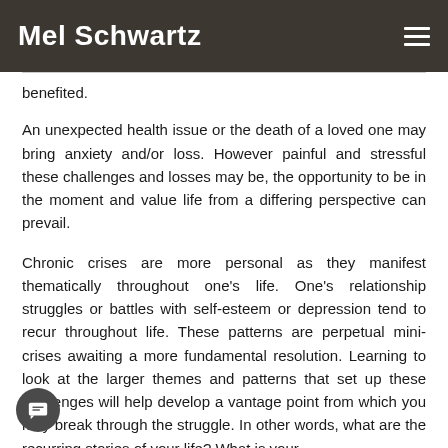Mel Schwartz
benefited.
An unexpected health issue or the death of a loved one may bring anxiety and/or loss. However painful and stressful these challenges and losses may be, the opportunity to be in the moment and value life from a differing perspective can prevail.
Chronic crises are more personal as they manifest thematically throughout one’s life. One’s relationship struggles or battles with self-esteem or depression tend to recur throughout life. These patterns are perpetual mini-crises awaiting a more fundamental resolution. Learning to look at the larger themes and patterns that set up these challenges will help develop a vantage point from which you may break through the struggle. In other words, what are the recurring stories of your life? What is your